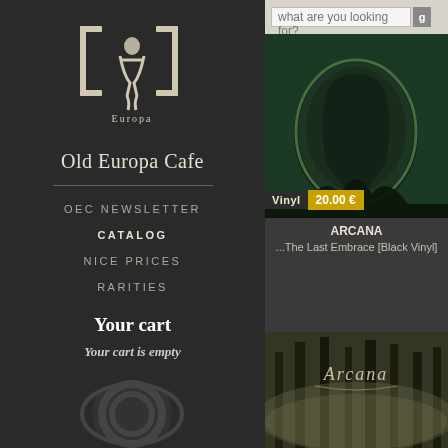[Figure (logo): Old Europa Cafe stylized logo with gothic lettering and figure artwork]
Old Europa Cafe
OEC NEWSLETTER
CATALOG
NICE PRICES
RARITIES
Your cart
Your cart is empty
[Figure (screenshot): Search bar with text 'what are you looking for?' and a search button]
[Figure (photo): Album cover for Arcana - The Last Embrace [Black Vinyl], dark green with circular mirror/medallion imagery]
Vinyl  20.00 €
ARCANA
...The Last Embrace [Black Vinyl]
[Figure (photo): Second Arcana album cover showing forest scene with gothic Arcana lettering]